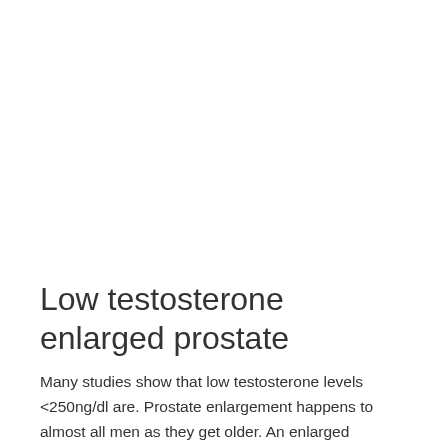Low testosterone enlarged prostate
Many studies show that low testosterone levels <250ng/dl are. Prostate enlargement happens to almost all men as they get older. An enlarged prostate is often called benign prostatic hyperplasia (bph). It is not cancer, and Prostate enlargement will not cause...